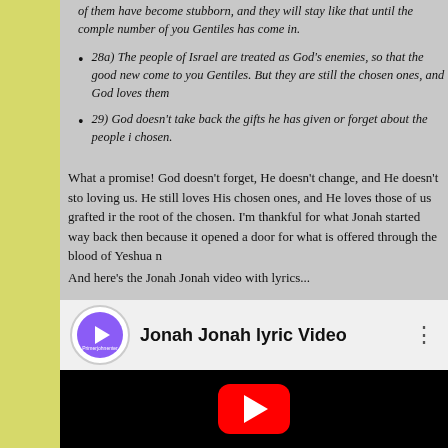of them have become stubborn, and they will stay like that until the complete number of you Gentiles has come in.
28a) The people of Israel are treated as God's enemies, so that the good news could come to you Gentiles. But they are still the chosen ones, and God loves them…
29) God doesn't take back the gifts he has given or forget about the people he has chosen.
What a promise! God doesn't forget, He doesn't change, and He doesn't stop loving us. He still loves His chosen ones, and He loves those of us grafted into the root of the chosen. I'm thankful for what Jonah started way back then because it opened a door for what is offered through the blood of Yeshua n…
And here's the Jonah Jonah video with lyrics...
[Figure (screenshot): Embedded YouTube video player showing 'Jonah Jonah lyric Video' with channel icon, title, three-dot menu, and YouTube play button on black background.]